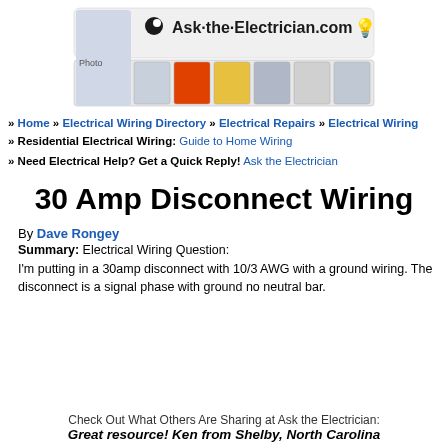[Figure (logo): Ask-the-Electrician.com website header banner with logo, man holding electrical wire, and various electrical components]
» Home » Electrical Wiring Directory » Electrical Repairs » Electrical Wiring
» Residential Electrical Wiring: Guide to Home Wiring
» Need Electrical Help? Get a Quick Reply! Ask the Electrician
30 Amp Disconnect Wiring
By Dave Rongey
Summary: Electrical Wiring Question:
I'm putting in a 30amp disconnect with 10/3 AWG with a ground wiring. The disconnect is a signal phase with ground no neutral bar.
Check Out What Others Are Sharing at Ask the Electrician:
Great resource! Ken from Shelby, North Carolina